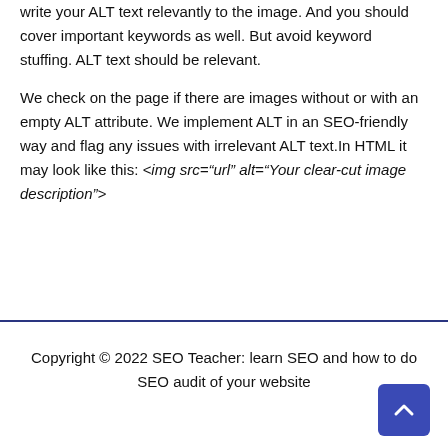write your ALT text relevantly to the image. And you should cover important keywords as well. But avoid keyword stuffing. ALT text should be relevant.
We check on the page if there are images without or with an empty ALT attribute. We implement ALT in an SEO-friendly way and flag any issues with irrelevant ALT text.In HTML it may look like this: <img src="url" alt="Your clear-cut image description">
Copyright © 2022 SEO Teacher: learn SEO and how to do SEO audit of your website